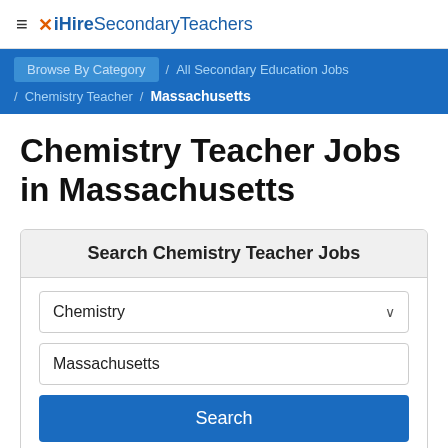≡ ✕ iHireSecondaryTeachers
Browse By Category / All Secondary Education Jobs / Chemistry Teacher / Massachusetts
Chemistry Teacher Jobs in Massachusetts
Search Chemistry Teacher Jobs
Chemistry [dropdown]
Massachusetts [input]
Search [button]